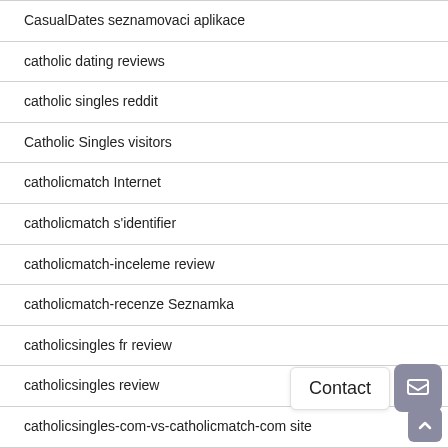CasualDates seznamovaci aplikace
catholic dating reviews
catholic singles reddit
Catholic Singles visitors
catholicmatch Internet
catholicmatch s'identifier
catholicmatch-inceleme review
catholicmatch-recenze Seznamka
catholicsingles fr review
catholicsingles review
catholicsingles-com-vs-catholicmatch-com site
cdates.org Anmeldung